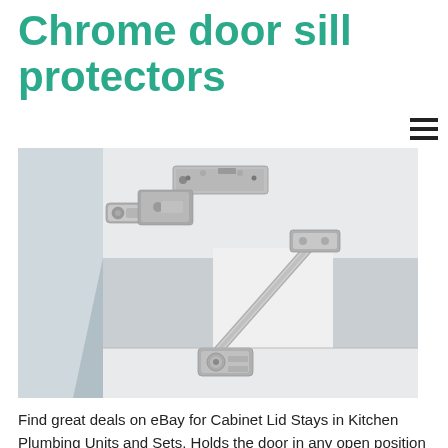Chrome door sill protectors
[Figure (photo): A chrome/nickel cabinet lid stay hardware piece mounted on white cabinet panels, showing a hinge mechanism at the top and an articulated arm extending diagonally downward to a pivot bracket at the bottom.]
Find great deals on eBay for Cabinet Lid Stays in Kitchen Plumbing Units and Sets. Holds the door in any open position or lets it slide down gently. We supply trade quality DIY and